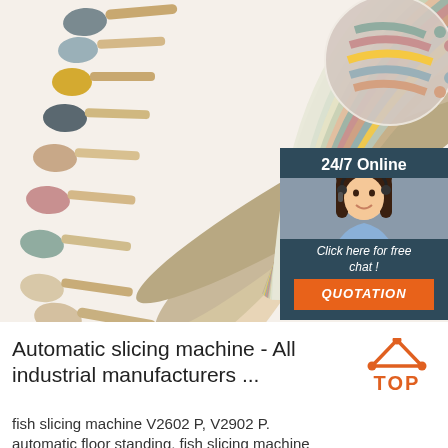[Figure (photo): Product photo showing colorful silicone baby spoons in various pastel colors fanned out, with an inset chat widget showing a customer service agent with '24/7 Online', 'Click here for free chat!', and a 'QUOTATION' button on a dark teal background.]
Automatic slicing machine - All industrial manufacturers ...
fish slicing machine V2602 P, V2902 P. automatic floor standing, fish slicing machine